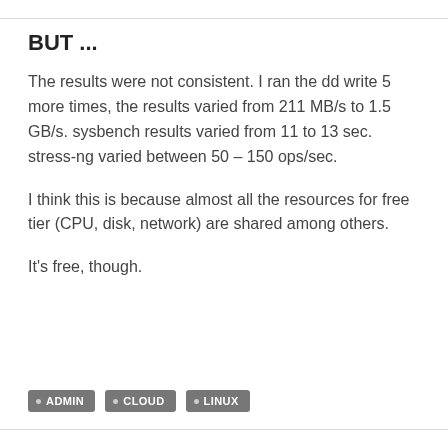BUT ...
The results were not consistent. I ran the dd write 5 more times, the results varied from 211 MB/s to 1.5 GB/s. sysbench results varied from 11 to 13 sec. stress-ng varied between 50 – 150 ops/sec.
I think this is because almost all the resources for free tier (CPU, disk, network) are shared among others.
It's free, though.
ADMIN
CLOUD
LINUX